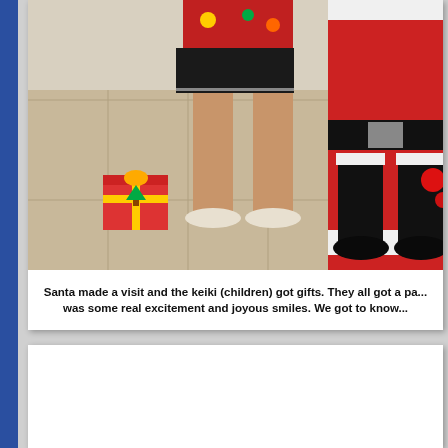[Figure (photo): Photo showing legs of a person in a Christmas sweater and black shorts standing next to Santa Claus in full red suit with black boots, indoors on tile floor with a Christmas gift box visible]
Santa made a visit and the keiki (children) got gifts. They all got a pa... was some real excitement and joyous smiles. We got to know...
[Figure (photo): Photo showing a sign that reads 'Put Faith into Act...' on a tan/gold background, with green foliage below and a figure in blue on the right side]